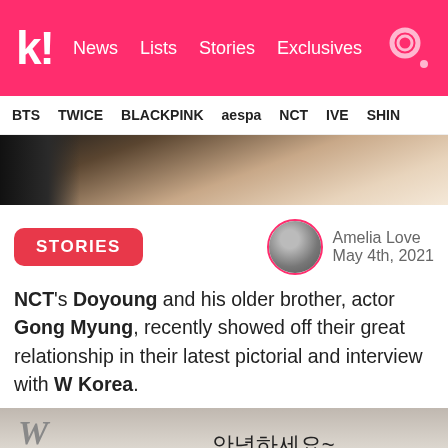k! News Lists Stories Exclusives
BTS TWICE BLACKPINK aespa NCT IVE SHINE
[Figure (photo): Hero image showing people, cropped view of torsos and arms]
STORIES
Amelia Love
May 4th, 2021
NCT's Doyoung and his older brother, actor Gong Myung, recently showed off their great relationship in their latest pictorial and interview with W Korea.
[Figure (photo): Photo from W Korea pictorial showing two men with Korean text 안녕하세요~ and a decorative animal figure]